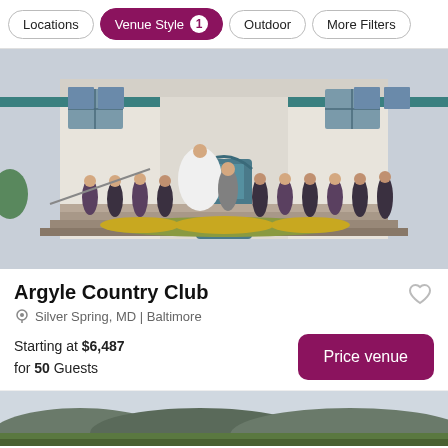Locations | Venue Style 1 | Outdoor | More Filters
[Figure (photo): Wedding party posing on the steps of Argyle Country Club, bridesmaids in purple dresses and groomsmen in dark suits, with the bride in white at center.]
Argyle Country Club
Silver Spring, MD | Baltimore
Starting at $6,487 for 50 Guests
[Figure (photo): Scenic countryside landscape with rolling green hills and mountains in the background under an overcast sky.]